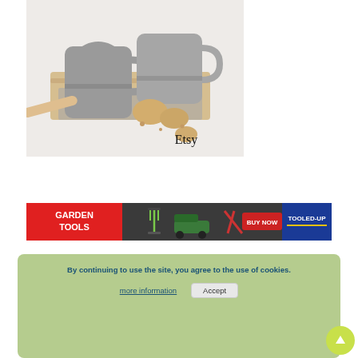[Figure (photo): Two grey ceramic mugs on a wooden board with cookies/biscuits, white background. 'Etsy' text watermark in bottom right of image.]
[Figure (other): Garden Tools advertisement banner with red background on left showing 'GARDEN TOOLS' text and arrow, garden tools image, lawnmower, scissors, 'BUY NOW' button, and 'TOOLED-UP' logo on blue background on the right.]
By continuing to use the site, you agree to the use of cookies.
more information
Accept
[Figure (other): National Trust 'Become a' membership banner with green and pink colors, National Trust oak leaf logo on left.]